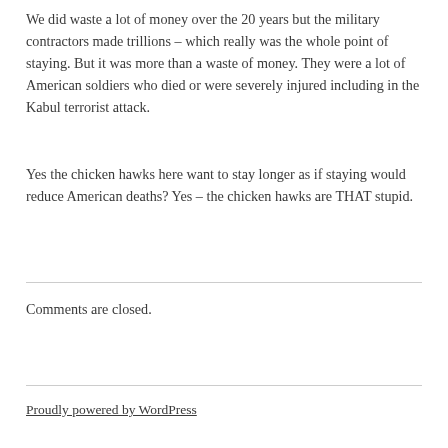We did waste a lot of money over the 20 years but the military contractors made trillions – which really was the whole point of staying. But it was more than a waste of money. They were a lot of American soldiers who died or were severely injured including in the Kabul terrorist attack.
Yes the chicken hawks here want to stay longer as if staying would reduce American deaths? Yes – the chicken hawks are THAT stupid.
Comments are closed.
Proudly powered by WordPress